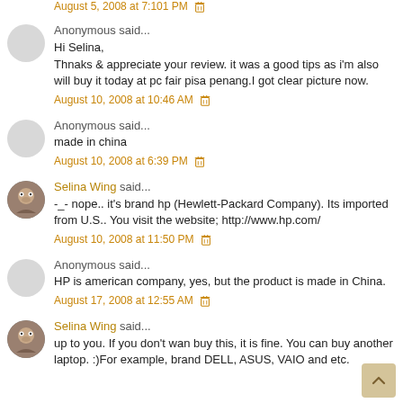August 5, 2008 at 7:101 PM 🗑
Anonymous said...
Hi Selina,
Thnaks & appreciate your review. it was a good tips as i'm also will buy it today at pc fair pisa penang.I got clear picture now.
August 10, 2008 at 10:46 AM
Anonymous said...
made in china
August 10, 2008 at 6:39 PM
Selina Wing said...
-_- nope.. it's brand hp (Hewlett-Packard Company). Its imported from U.S.. You visit the website; http://www.hp.com/
August 10, 2008 at 11:50 PM
Anonymous said...
HP is american company, yes, but the product is made in China.
August 17, 2008 at 12:55 AM
Selina Wing said...
up to you. If you don't wan buy this, it is fine. You can buy another laptop. :)For example, brand DELL, ASUS, VAIO and etc.